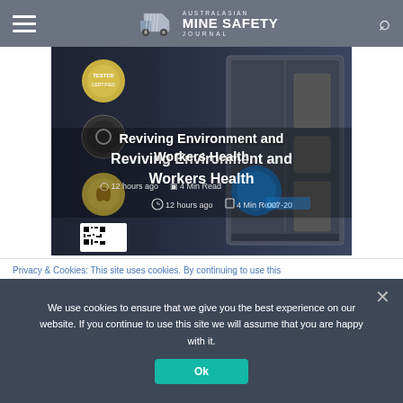AUSTRALASIAN MINE SAFETY JOURNAL
[Figure (photo): Industrial air filtration or purification unit, dark background with blue accent circle logo, circular certification icons on the left side including a QR code, text overlay showing article title and metadata]
Reviving Environment and Workers Health
12 hours ago  4 Min Read
Privacy & Cookies: This site uses cookies. By continuing to use this
We use cookies to ensure that we give you the best experience on our website. If you continue to use this site we will assume that you are happy with it.